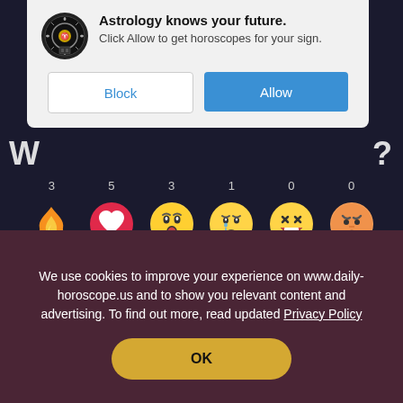[Figure (screenshot): Browser notification popup with astrology icon, title 'Astrology knows your future.', subtitle 'Click Allow to get horoscopes for your sign.', and Block/Allow buttons]
[Figure (infographic): Dark background reaction buttons section showing 6 emoji reactions: Superb (fire, count 3), Love (heart, count 5), Wow (surprised face, count 3), Sad (sad face, count 1), Laugh (laughing face, count 0), Angry (angry face, count 0)]
Login
We use cookies to improve your experience on www.daily-horoscope.us and to show you relevant content and advertising. To find out more, read updated Privacy Policy
[Figure (other): OK button in golden/yellow color on dark maroon cookie consent banner]